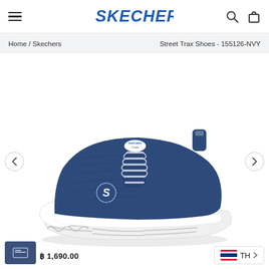SKECHERS
Home / Skechers   Street Trax Shoes - 155126-NVY
[Figure (photo): Navy blue Skechers Street Trax low-top canvas sneaker with white chunky sole, lace-up design, and Skechers S logo on the side. Angled side view on white background.]
฿ 1,690.00
TH